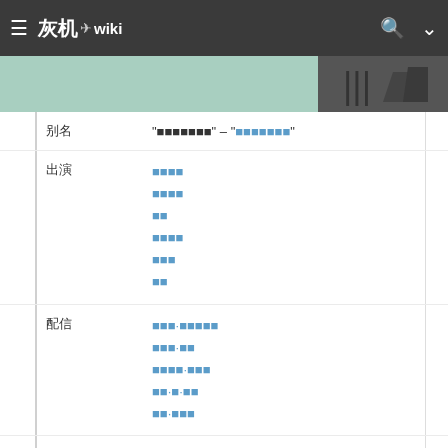灰机wiki
[Figure (photo): Partial image strip with green/teal background and dark silhouette figure on right]
| 类别 | 值 |
| --- | --- |
| 别名 | “■■■■■■■” – “■■■■■■■” |
| 出演 | ■■■■
■■■■
■■
■■■■
■■■
■■ |
| 配信 | ■■■·■■■■■
■■■·■■
■■■■·■■■
■■·■·■■
■■·■■■ |
| 制作 | ■■■·■■■■■ |
| 发布 | ■■·■■■[1] |
| 格式 | D■■ |
| 时长 | 0:35 |